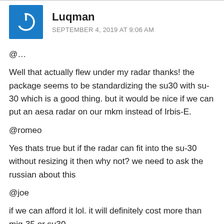[Figure (illustration): Blue square avatar with white power button icon]
Luqman
SEPTEMBER 4, 2019 AT 9:06 AM
@...
Well that actually flew under my radar thanks! the package seems to be standardizing the su30 with su-30 which is a good thing. but it would be nice if we can put an aesa radar on our mkm instead of Irbis-E.
@romeo
Yes thats true but if the radar can fit into the su-30 without resizing it then why not? we need to ask the russian about this
@joe
if we can afford it lol. it will definitely cost more than mig-35 or su30